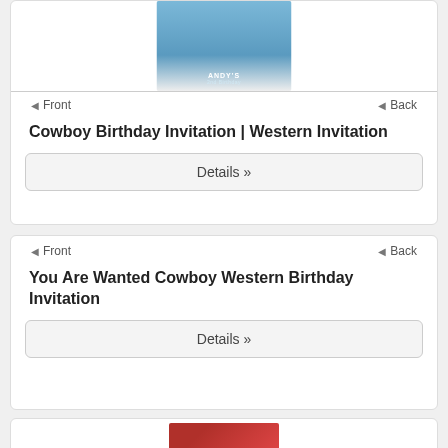[Figure (photo): Cowboy Birthday Invitation card thumbnail showing a blue sky background with the name ANDY'S]
◀ Front
◀ Back
Cowboy Birthday Invitation | Western Invitation
Details »
◀ Front
◀ Back
You Are Wanted Cowboy Western Birthday Invitation
Details »
[Figure (photo): Red western themed birthday invitation card thumbnail]